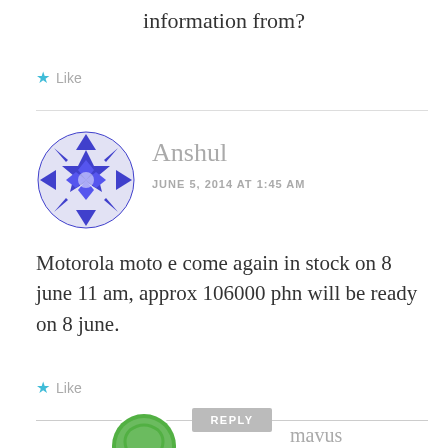information from?
★ Like
Anshul
JUNE 5, 2014 AT 1:45 AM
Motorola moto e come again in stock on 8 june 11 am, approx 106000 phn will be ready on 8 june.
★ Like
REPLY